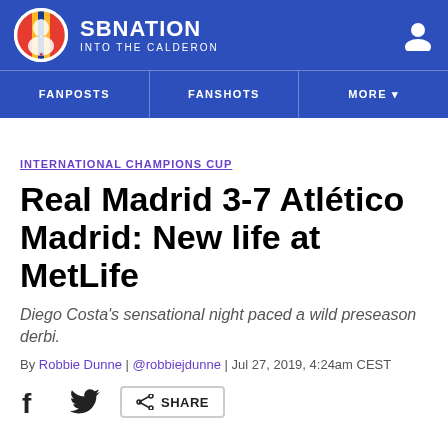SBNATION INTO THE CALDERON
INTERNATIONAL CHAMPIONS CUP
Real Madrid 3-7 Atlético Madrid: New life at MetLife
Diego Costa's sensational night paced a wild preseason derbi.
By Robbie Dunne | @robbiejdunne | Jul 27, 2019, 4:24am CEST